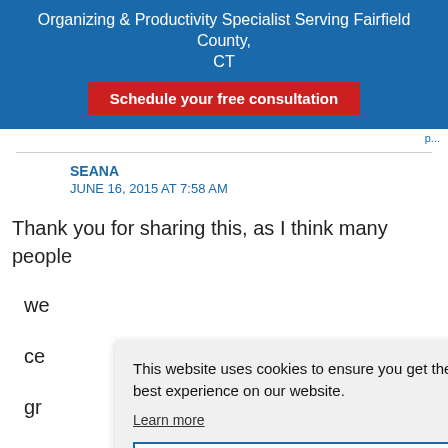Organizing & Productivity Specialist Serving Fairfield County, CT
Schedule your free consultation
SEANA
JUNE 16, 2015 AT 7:58 AM
Thank you for sharing this, as I think many people we ce gr cl ha
[Figure (screenshot): Cookie consent popup overlay reading: 'This website uses cookies to ensure you get the best experience on our website. Learn more' with a 'Got it' button.]